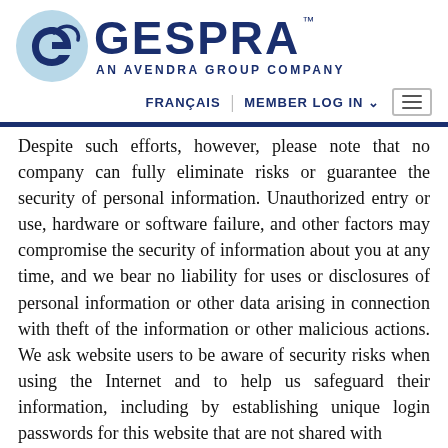[Figure (logo): GESPRA logo: light blue circle with a stylized white G initial, followed by GESPRA in dark navy bold text with TM mark, and subtitle AN AVENDRA GROUP COMPANY in dark navy spaced capitals]
FRANÇAIS | MEMBER LOG IN ∨  ≡
Despite such efforts, however, please note that no company can fully eliminate risks or guarantee the security of personal information. Unauthorized entry or use, hardware or software failure, and other factors may compromise the security of information about you at any time, and we bear no liability for uses or disclosures of personal information or other data arising in connection with theft of the information or other malicious actions. We ask website users to be aware of security risks when using the Internet and to help us safeguard their information, including by establishing unique login passwords for this website that are not shared with